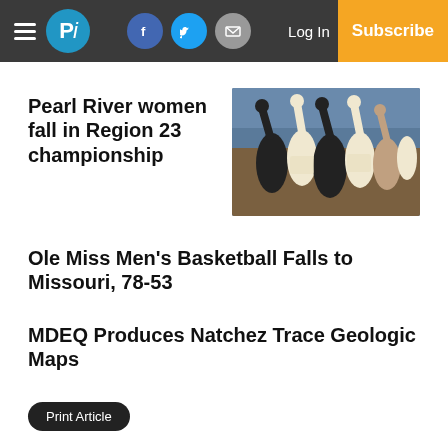Pi — Log In | Subscribe
Pearl River women fall in Region 23 championship
[Figure (photo): Basketball team huddle with hands raised, players in white and maroon uniforms]
Ole Miss Men's Basketball Falls to Missouri, 78-53
MDEQ Produces Natchez Trace Geologic Maps
Print Article